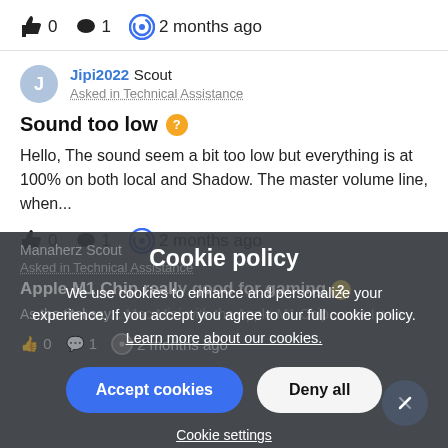👍 0  💬 1  🔄 2 months ago
Jipi2022 Scout
Asked in Technical Assistance
Sound too low
Hello, The sound seem a bit too low but everything is at 100% on both local and Shadow. The master volume line, when...
👍 0  💬 1  🔄 2 months ago
Manaherz Scout
Asked in Technical Assistance
Apple M1 Chip really good for gaming
As the titel say... Mac Mini with the Apple M1 Chip... use I was...
👍 0  💬 1  🔄 2 months ago
Cookie policy
We use cookies to enhance and personalize your experience. If you accept you agree to our full cookie policy. Learn more about our cookies.
Accept cookies  Deny all
Cookie settings